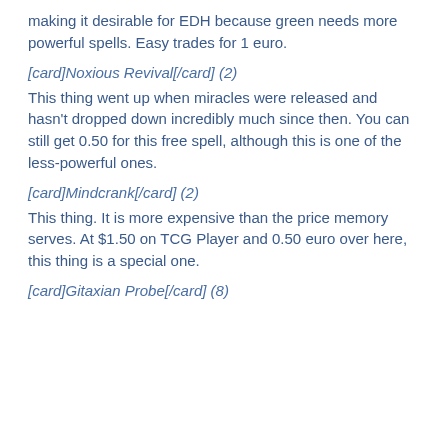making it desirable for EDH because green needs more powerful spells. Easy trades for 1 euro.
[card]Noxious Revival[/card] (2)
This thing went up when miracles were released and hasn't dropped down incredibly much since then. You can still get 0.50 for this free spell, although this is one of the less-powerful ones.
[card]Mindcrank[/card] (2)
This thing. It is more expensive than the price memory serves. At $1.50 on TCG Player and 0.50 euro over here, this thing is a special one.
[card]Gitaxian Probe[/card] (8)